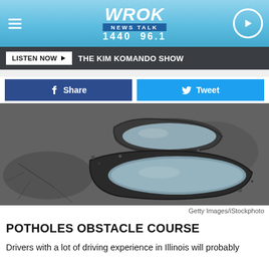WROK NEWS TALK 1440 96.1
LISTEN NOW ▶   THE KIM KOMANDO SHOW
f Share   🐦 Tweet
[Figure (photo): Close-up photograph of two large potholes filled with water on a cracked asphalt road surface]
Getty Images/iStockphoto
POTHOLES OBSTACLE COURSE
Drivers with a lot of driving experience in Illinois will probably